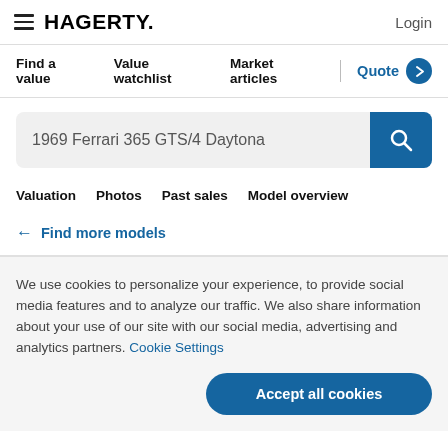HAGERTY. Login
Find a value   Value watchlist   Market articles   Quote
1969 Ferrari 365 GTS/4 Daytona
Valuation   Photos   Past sales   Model overview
← Find more models
We use cookies to personalize your experience, to provide social media features and to analyze our traffic. We also share information about your use of our site with our social media, advertising and analytics partners. Cookie Settings
Accept all cookies